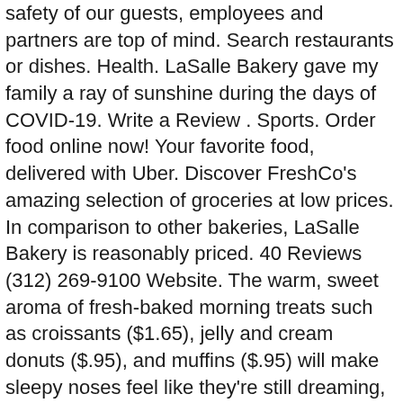safety of our guests, employees and partners are top of mind. Search restaurants or dishes. Health. LaSalle Bakery gave my family a ray of sunshine during the days of COVID-19. Write a Review . Sports. Order food online now! Your favorite food, delivered with Uber. Discover FreshCo's amazing selection of groceries at low prices. In comparison to other bakeries, LaSalle Bakery is reasonably priced. 40 Reviews (312) 269-9100 Website. The warm, sweet aroma of fresh-baked morning treats such as croissants ($1.65), jelly and cream donuts ($.95), and muffins ($.95) will make sleepy noses feel like they're still dreaming, especially when they realize they're not wearing any clothes. Get iTunes Connect performance data & insights for LaSalle Bakery, Inc broken down by app. Address. We Are Open ! We have updated our privacy commitment and are now collecting cookies to provide you … Enjoy Bakery delivery with Uber Eats in La Salle. Weekly Flyer brings all your favourite Canadian local flyers and deals to one app. Skip to Navigation Skip to About Skip to Footer Skip to Cart. LaSalle Bakery is a member of